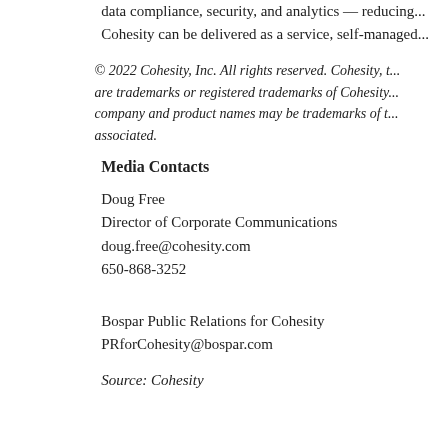data compliance, security, and analytics — reducing… Cohesity can be delivered as a service, self-managed…
© 2022 Cohesity, Inc. All rights reserved. Cohesity, t… are trademarks or registered trademarks of Cohesity… company and product names may be trademarks of t… associated.
Media Contacts
Doug Free
Director of Corporate Communications
doug.free@cohesity.com
650-868-3252
Bospar Public Relations for Cohesity
PRforCohesity@bospar.com
Source: Cohesity
[Figure (other): Social sharing icons: Facebook, Twitter, Email, Share/Plus]
Related posts:
Cohesity Fiscal 2021 Results Shatter Prev… Next-Gen Data Management With Built-i…